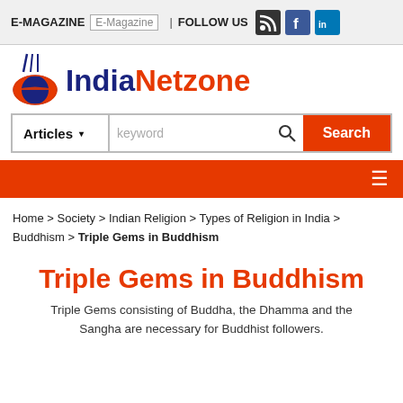E-MAGAZINE | FOLLOW US
[Figure (logo): IndiaNetzone logo with blue and orange globe icon and text 'IndiaNetzone']
Articles ▾  keyword  Search
≡ (hamburger menu)
Home > Society > Indian Religion > Types of Religion in India > Buddhism > Triple Gems in Buddhism
Triple Gems in Buddhism
Triple Gems consisting of Buddha, the Dhamma and the Sangha are necessary for Buddhist followers.